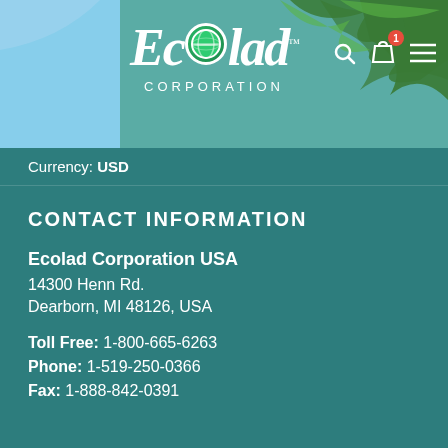[Figure (screenshot): Ecolad Corporation website header with logo, palm tree background, search icon, shopping bag icon with badge showing '1', and hamburger menu icon]
Currency: USD
CONTACT INFORMATION
Ecolad Corporation USA
14300 Henn Rd.
Dearborn, MI 48126, USA
Toll Free: 1-800-665-6263
Phone: 1-519-250-0366
Fax: 1-888-842-0391